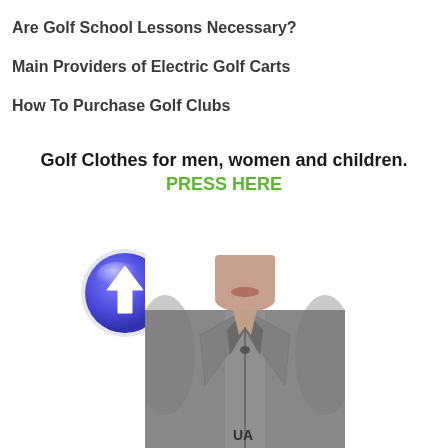Are Golf School Lessons Necessary?
Main Providers of Electric Golf Carts
How To Purchase Golf Clubs
Golf Clothes for men, women and children. PRESS HERE
[Figure (illustration): Blue circular button with white upward arrow icon]
[Figure (photo): Man wearing a grey golf polo shirt, cropped at chin level, showing collar and chest area]